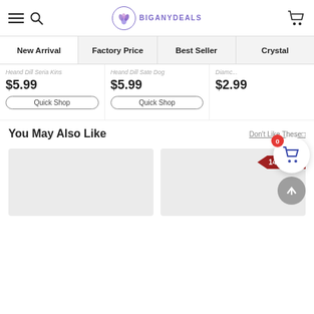BIGANYDEALS
New Arrival | Factory Price | Best Seller | Crystal
Heand Dill Seria Kins  $5.99
Heand Dill Sate Dog  $5.99
Diamc...  $2.99
You May Also Like
Don't Like These□
14% OFF